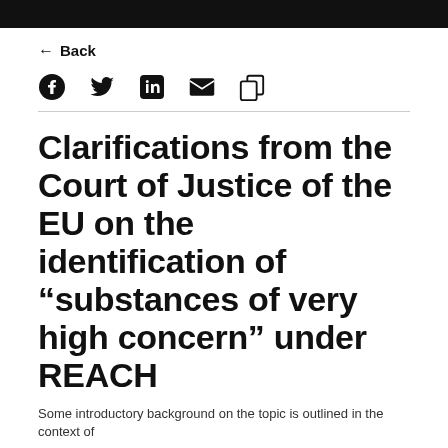← Back
[Figure (infographic): Social sharing icons: Facebook, Twitter, LinkedIn, Email, Copy]
Clarifications from the Court of Justice of the EU on the identification of "substances of very high concern" under REACH
Some introductory text beginning at the bottom of the page...